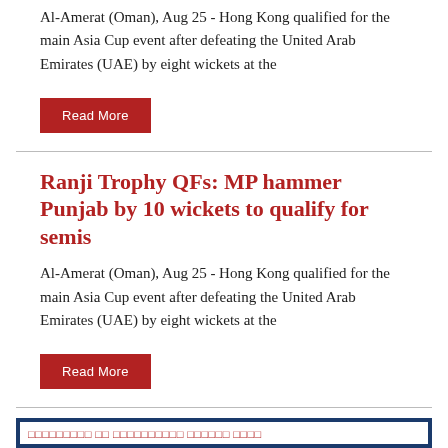Al-Amerat (Oman), Aug 25 - Hong Kong qualified for the main Asia Cup event after defeating the United Arab Emirates (UAE) by eight wickets at the
Read More
Ranji Trophy QFs: MP hammer Punjab by 10 wickets to qualify for semis
Al-Amerat (Oman), Aug 25 - Hong Kong qualified for the main Asia Cup event after defeating the United Arab Emirates (UAE) by eight wickets at the
Read More
□□□□□□□□□ □□ □□□□□□□□□□ □□□□□□ □□□□